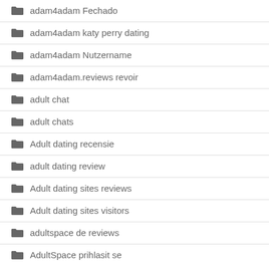adam4adam Fechado
adam4adam katy perry dating
adam4adam Nutzername
adam4adam.reviews revoir
adult chat
adult chats
Adult dating recensie
adult dating review
Adult dating sites reviews
Adult dating sites visitors
adultspace de reviews
AdultSpace prihlasit se